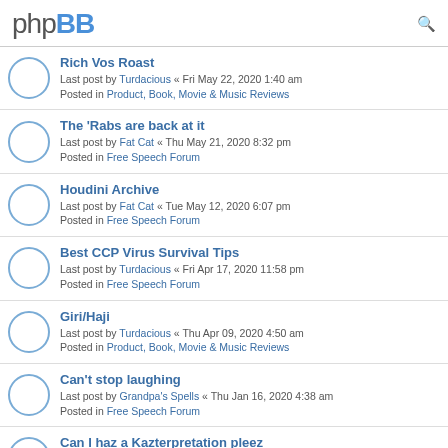phpBB
Rich Vos Roast
Last post by Turdacious « Fri May 22, 2020 1:40 am
Posted in Product, Book, Movie & Music Reviews
The 'Rabs are back at it
Last post by Fat Cat « Thu May 21, 2020 8:32 pm
Posted in Free Speech Forum
Houdini Archive
Last post by Fat Cat « Tue May 12, 2020 6:07 pm
Posted in Free Speech Forum
Best CCP Virus Survival Tips
Last post by Turdacious « Fri Apr 17, 2020 11:58 pm
Posted in Free Speech Forum
Giri/Haji
Last post by Turdacious « Thu Apr 09, 2020 4:50 am
Posted in Product, Book, Movie & Music Reviews
Can't stop laughing
Last post by Grandpa's Spells « Thu Jan 16, 2020 4:38 am
Posted in Free Speech Forum
Can I haz a Kazterpretation pleez
Last post by Turdacious « Wed Jan 15, 2020 4:59 am
Posted in Free Speech Forum
World Population Trends to 2100
Last post by Fat Cat « Fri Jan 10, 2020 11:51 pm